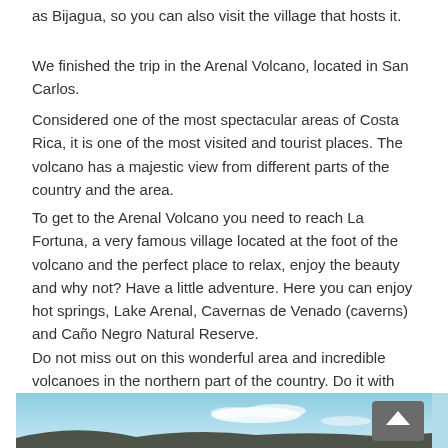as Bijagua, so you can also visit the village that hosts it.
We finished the trip in the Arenal Volcano, located in San Carlos.
Considered one of the most spectacular areas of Costa Rica, it is one of the most visited and tourist places. The volcano has a majestic view from different parts of the country and the area.
To get to the Arenal Volcano you need to reach La Fortuna, a very famous village located at the foot of the volcano and the perfect place to relax, enjoy the beauty and why not? Have a little adventure. Here you can enjoy hot springs, Lake Arenal, Cavernas de Venado (caverns) and Caño Negro Natural Reserve.
Do not miss out on this wonderful area and incredible volcanoes in the northern part of the country. Do it with us.
[Figure (photo): Sky and clouds photo of Arenal Volcano area, light blue sky with white clouds and dark landmass at bottom. Includes a back-to-top button overlay.]